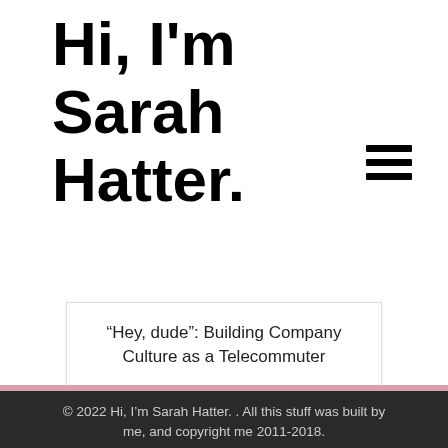Hi, I'm Sarah Hatter.
“Hey, dude”: Building Company Culture as a Telecommuter
Weekly Wit: Pizza Love
Weekly Wit: 50 Shades of “Meh”
© 2022 Hi, I’m Sarah Hatter. . All this stuff was built by me, and copyright me 2011-2018.